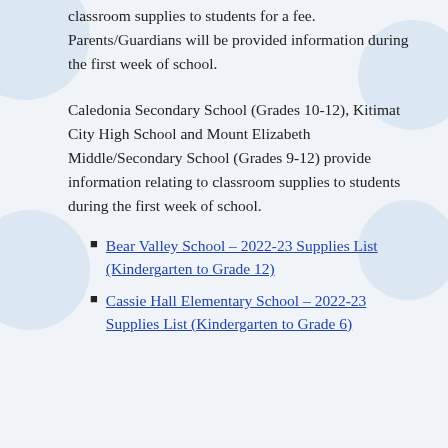classroom supplies to students for a fee. Parents/Guardians will be provided information during the first week of school.
Caledonia Secondary School (Grades 10-12), Kitimat City High School and Mount Elizabeth Middle/Secondary School (Grades 9-12) provide information relating to classroom supplies to students during the first week of school.
Bear Valley School – 2022-23 Supplies List (Kindergarten to Grade 12)
Cassie Hall Elementary School – 2022-23 Supplies List (Kindergarten to Grade 6)